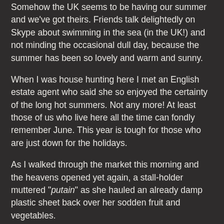Somehow the UK seems to be having our summer and we've got theirs.  Friends talk delightedly on Skype about swimming in the sea (in the UK!) and not minding the occasional dull day, because the summer has been so lovely and warm and sunny.
When I was house hunting here I met an English estate agent who said she so enjoyed the certainty of the long hot summers.  Not any more! At least those of us who live here all the time can fondly remember June. This year is tough for those who are just down for the holidays.
As I walked through the market this morning and the heavens opened yet again, a stall-holder muttered "putain" as she hauled an already damp plastic sheet back over her sodden fruit and vegetables.
This evening we are going to a concert in a chateau - in the garden if fine, in the entrance hall if wet - hence my check on the météo.  Looks like we'll be in the hall.
Friends arrive from the UK in ten days.  It'll be nice for them